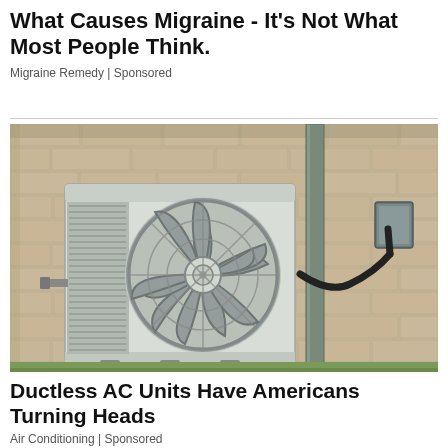What Causes Migraine - It’s Not What Most People Think.
Migraine Remedy | Sponsored
[Figure (photo): Outdoor ductless mini-split air conditioning unit mounted on a beige brick wall, with conduit and electrical box visible on the right side of the wall.]
Ductless AC Units Have Americans Turning Heads
Air Conditioning | Sponsored